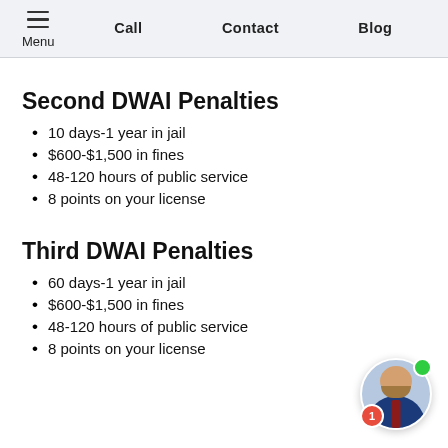Menu | Call | Contact | Blog
Second DWAI Penalties
10 days-1 year in jail
$600-$1,500 in fines
48-120 hours of public service
8 points on your license
Third DWAI Penalties
60 days-1 year in jail
$600-$1,500 in fines
48-120 hours of public service
8 points on your license
[Figure (photo): Chat avatar of a man in a suit with a green online indicator dot and a red notification badge showing 1]